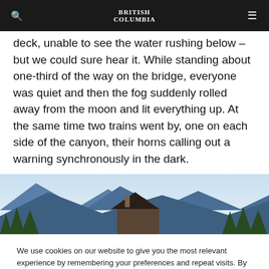BRITISH COLUMBIA
deck, unable to see the water rushing below – but we could sure hear it. While standing about one-third of the way on the bridge, everyone was quiet and then the fog suddenly rolled away from the moon and lit everything up. At the same time two trains went by, one on each side of the canyon, their horns calling out a warning synchronously in the dark.
[Figure (photo): Landscape photo showing mountains in the background under a light blue sky, with trees on the left and right sides and a dark-roofed building in the center foreground.]
We use cookies on our website to give you the most relevant experience by remembering your preferences and repeat visits. By clicking “Accept”, you consent to the use of ALL the cookies.